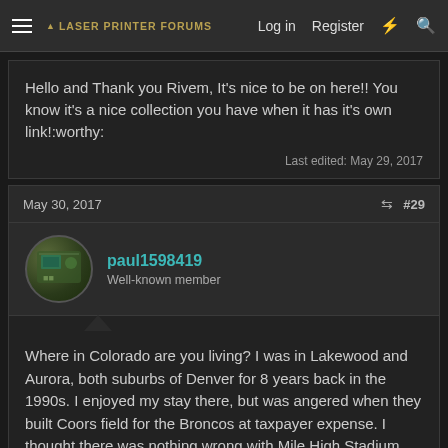Laser Printer Forums | Log in | Register
Hello and Thank you Rivem, It's nice to be on here!! You know it's a nice collection you have when it has it's own link!:worthy:
Last edited: May 29, 2017
May 30, 2017
#29
paul1598419
Well-known member
Where in Colorado are you living? I was in Lakewood and Aurora, both suburbs of Denver for 8 years back in the 1990s. I enjoyed my stay there, but was angered when they built Coors field for the Broncos at taxpayer expense. I thought there was nothing wrong with Mile High Stadium.